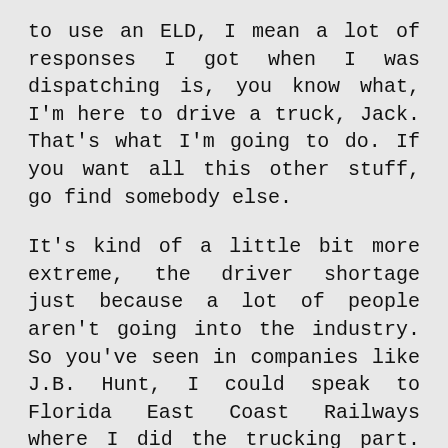to use an ELD, I mean a lot of responses I got when I was dispatching is, you know what, I'm here to drive a truck, Jack. That's what I'm going to do. If you want all this other stuff, go find somebody else.
It's kind of a little bit more extreme, the driver shortage just because a lot of people aren't going into the industry. So you've seen in companies like J.B. Hunt, I could speak to Florida East Coast Railways where I did the trucking part. You've got to treat drivers with respect. I don't know if the general public knows how much work it goes into driving those trucks. It's very mentally fatiguing and physically it is. And people are saying physically? You're just sitting on a truck. You're getting in and out of that truck multiple times a day. You're hooking up trailers. You're messing around with your fifth wheel. There is so much